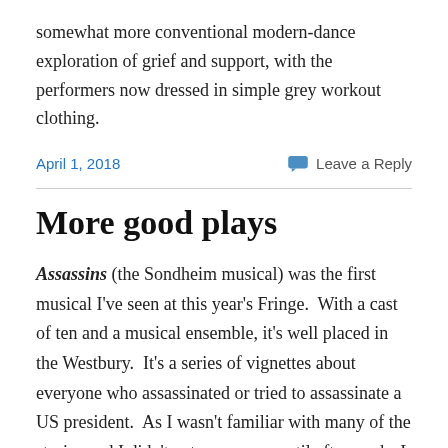somewhat more conventional modern-dance exploration of grief and support, with the performers now dressed in simple grey workout clothing.
April 1, 2018
Leave a Reply
More good plays
Assassins (the Sondheim musical) was the first musical I've seen at this year's Fringe.  With a cast of ten and a musical ensemble, it's well placed in the Westbury.  It's a series of vignettes about everyone who assassinated or tried to assassinate a US president.  As I wasn't familiar with many of the stories and I didn't get a program until afterwards, I probably missed the ones in the middle – I